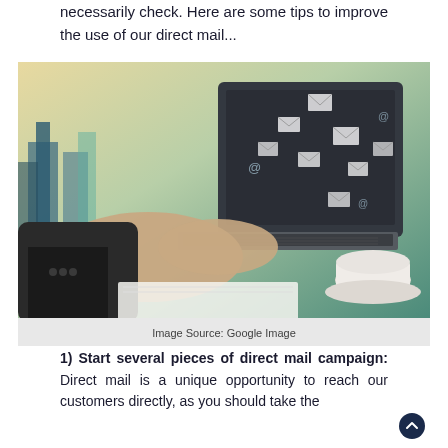necessarily check. Here are some tips to improve the use of our direct mail...
[Figure (photo): Person in business suit typing on a laptop with floating email envelope icons and a coffee cup on the desk, city background]
Image Source: Google Image
1) Start several pieces of direct mail campaign: Direct mail is a unique opportunity to reach our customers directly, as you should take the